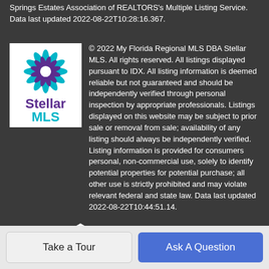Springs Estates Association of REALTORS's Multiple Listing Service. Data last updated 2022-08-22T10:28:16.367.
[Figure (logo): Stellar MLS logo with decorative star/flower graphic in teal and purple, text 'Stellar MLS' in purple and teal on white background]
© 2022 My Florida Regional MLS DBA Stellar MLS. All rights reserved. All listings displayed pursuant to IDX. All listing information is deemed reliable but not guaranteed and should be independently verified through personal inspection by appropriate professionals. Listings displayed on this website may be subject to prior sale or removal from sale; availability of any listing should always be independently verified. Listing information is provided for consumers personal, non-commercial use, solely to identify potential properties for potential purchase; all other use is strictly prohibited and may violate relevant federal and state law. Data last updated 2022-08-22T10:44:51.14.
[Figure (logo): Realtor R logo and Equal Housing Opportunity house logo in white]
Take a Tour
Ask A Question